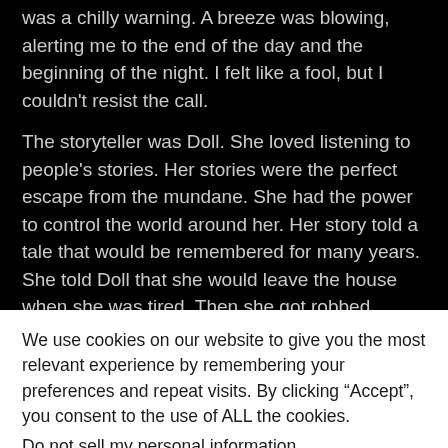was a chilly warning. A breeze was blowing, alerting me to the end of the day and the beginning of the night. I felt like a fool, but I couldn't resist the call.
The storyteller was Doll. She loved listening to people's stories. Her stories were the perfect escape from the mundane. She had the power to control the world around her. Her story told a tale that would be remembered for many years. She told Doll that she would leave the house when she was tired. Then she got robbed.
We use cookies on our website to give you the most relevant experience by remembering your preferences and repeat visits. By clicking “Accept”, you consent to the use of ALL the cookies.
Do not sell my personal information.
Cookie Settings   Accept